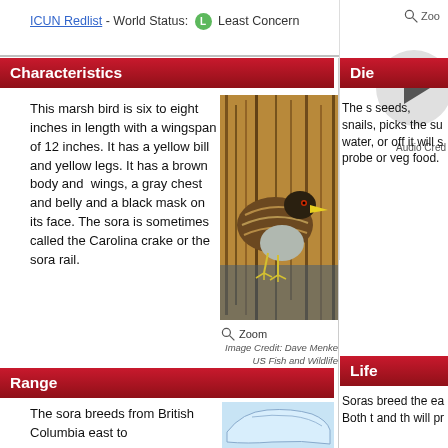ICUN Redlist - World Status: L Least Concern
Characteristics
This marsh bird is six to eight inches in length with a wingspan of 12 inches. It has a yellow bill and yellow legs. It has a brown body and wings, a gray chest and belly and a black mask on its face. The sora is sometimes called the Carolina crake or the sora rail.
[Figure (photo): Close-up photo of a sora rail bird in marsh reeds, with yellow bill visible. Image Credit: Dave Menke, US Fish and Wildlife]
Die...
The s... seeds, snails, picks the su water, or off it will s probe or veg food.
Range
The sora breeds from British Columbia east to
[Figure (illustration): Partial map/illustration showing range of the sora bird]
Life...
Soras breed the ea Both t and th will pr